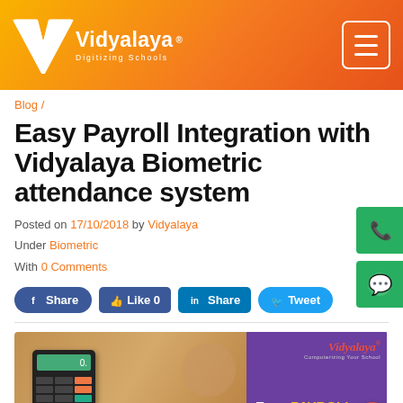Vidyalaya — Digitizing Schools
Blog /
Easy Payroll Integration with Vidyalaya Biometric attendance system
Posted on 17/10/2018 by Vidyalaya
Under Biometric
With 0 Comments
[Figure (screenshot): Social share buttons: Facebook Share, Like 0, LinkedIn Share, Twitter Tweet]
[Figure (photo): Blog banner image showing hands using calculator with payroll documents, and Vidyalaya branded graphic with text 'Easy PAYROLL Integration with']